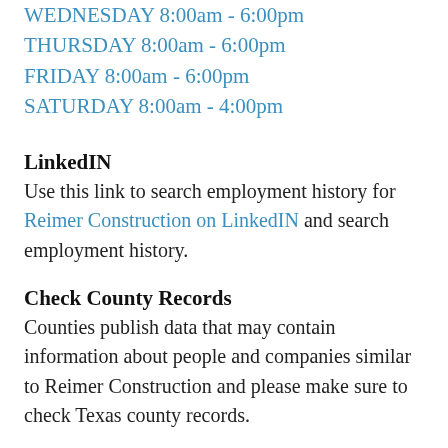WEDNESDAY 8:00am - 6:00pm
THURSDAY 8:00am - 6:00pm
FRIDAY 8:00am - 6:00pm
SATURDAY 8:00am - 4:00pm
LinkedIN
Use this link to search employment history for Reimer Construction on LinkedIN and search employment history.
Check County Records
Counties publish data that may contain information about people and companies similar to Reimer Construction and please make sure to check Texas county records.
Check Facebook